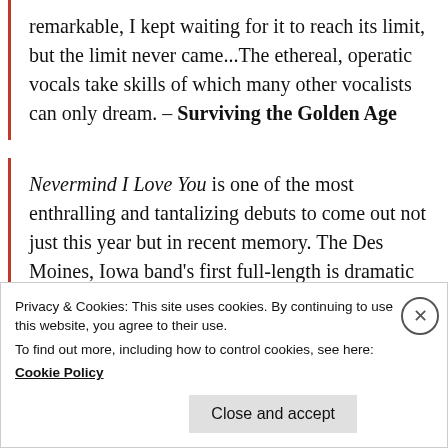remarkable, I kept waiting for it to reach its limit, but the limit never came...The ethereal, operatic vocals take skills of which many other vocalists can only dream. – Surviving the Golden Age
Nevermind I Love You is one of the most enthralling and tantalizing debuts to come out not just this year but in recent memory. The Des Moines, Iowa band's first full-length is dramatic and cinematic; it is at times operatic; and it's a sheer force of sound from start to finish..."Black
Privacy & Cookies: This site uses cookies. By continuing to use this website, you agree to their use.
To find out more, including how to control cookies, see here: Cookie Policy
Close and accept